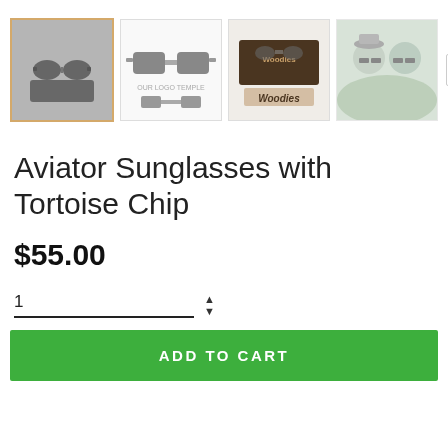[Figure (photo): Row of four product thumbnail images of Aviator Sunglasses with Tortoise Chip: first shows sunglasses on a dark stand (selected/highlighted), second shows front view of sunglasses with text, third shows Woodies branded box/packaging, fourth shows two people wearing sunglasses outdoors. Arrow button on right for more images.]
Aviator Sunglasses with Tortoise Chip
$55.00
1
ADD TO CART